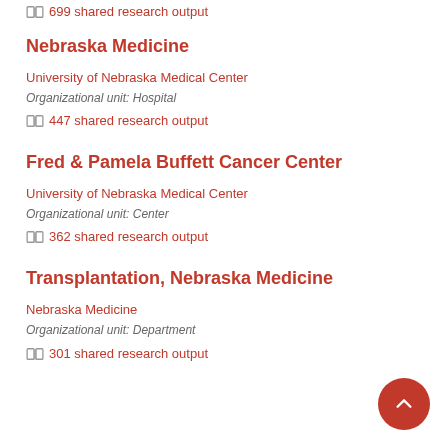699 shared research output
Nebraska Medicine
University of Nebraska Medical Center
Organizational unit: Hospital
447 shared research output
Fred & Pamela Buffett Cancer Center
University of Nebraska Medical Center
Organizational unit: Center
362 shared research output
Transplantation, Nebraska Medicine
Nebraska Medicine
Organizational unit: Department
301 shared research output